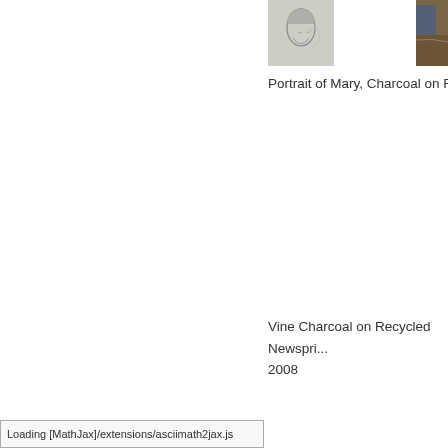[Figure (photo): A charcoal portrait sketch of Mary, partially visible, cropped at top]
[Figure (photo): A second artwork partially visible at right edge, appears colorful/painted]
Portrait of Mary, Charcoal on Recyc...
Vine Charcoal on Recycled Newspri...
2008
Loading [MathJax]/extensions/asciimath2jax.js